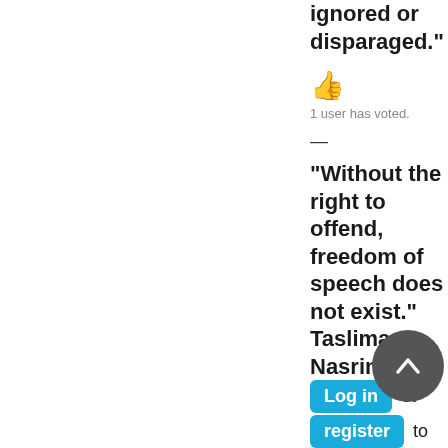ignored or disparaged."
[Figure (illustration): Thumbs up emoji in orange/yellow color]
1 user has voted.
—
"Without the right to offend, freedom of speech does not exist." Taslima Nasrin
Log in or register to